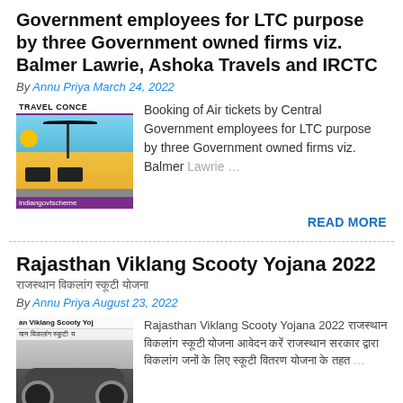Government employees for LTC purpose by three Government owned firms viz. Balmer Lawrie, Ashoka Travels and IRCTC
By Annu Priya March 24, 2022
[Figure (photo): Travel concessions promotional image with beach scene and indiangovtscheme watermark]
Booking of Air tickets by Central Government employees for LTC purpose by three Government owned firms viz. Balmer Lawrie ...
READ MORE
Rajasthan Viklang Scooty Yojana 2022
राजस्थान विकलांग स्कूटी योजना
By Annu Priya August 23, 2022
[Figure (photo): Rajasthan Viklang Scooty Yojana image showing a scooter]
Rajasthan Viklang Scooty Yojana 2022 राजस्थान विकलांग स्कूटी योजना आवेदन करें ...